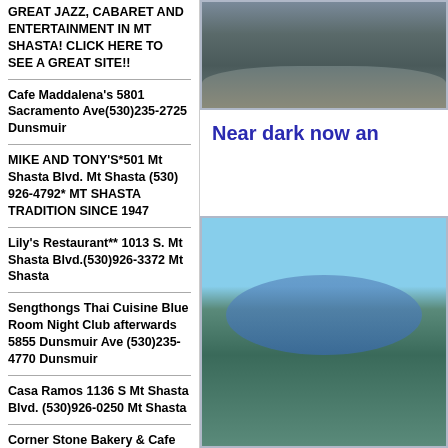GREAT JAZZ, CABARET AND ENTERTAINMENT IN MT SHASTA! CLICK HERE TO SEE A GREAT SITE!!
Cafe Maddalena's 5801 Sacramento Ave(530)235-2725 Dunsmuir
MIKE AND TONY'S*501 Mt Shasta Blvd. Mt Shasta (530) 926-4792* MT SHASTA TRADITION SINCE 1947
Lily's Restaurant** 1013 S. Mt Shasta Blvd.(530)926-3372 Mt Shasta
Sengthongs Thai Cuisine Blue Room Night Club afterwards 5855 Dunsmuir Ave (530)235-4770 Dunsmuir
Casa Ramos 1136 S Mt Shasta Blvd. (530)926-0250 Mt Shasta
Corner Stone Bakery & Cafe 5759 Dunsmuir Ave (530)235-
[Figure (photo): Rocky riverbed with large stones, top portion of the right column]
Near dark now an
[Figure (photo): Person holding a trout fish with a river and rocky cliffs in the background]